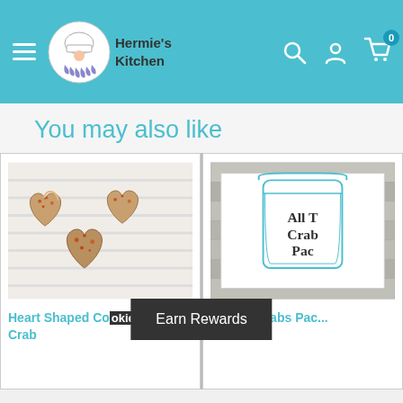Hermie's Kitchen navigation header with logo, hamburger menu, search, account, and cart icons
You may also like
[Figure (photo): Three heart-shaped crab cakes on a white surface, golden brown with red seasoning on top]
Heart Shaped Cookies | Hermit Crab
[Figure (photo): Mason jar illustration on a rustic wood background with text 'All The Crabs Pac...']
All The Crabs Pac... Crab
Earn Rewards